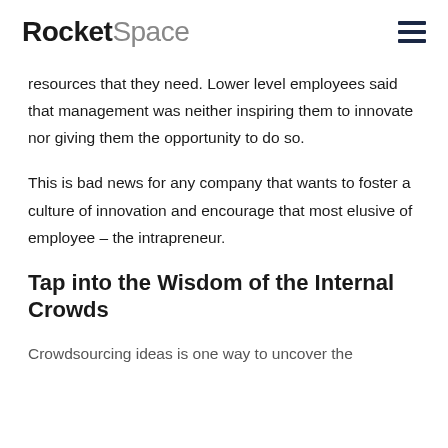RocketSpace
resources that they need. Lower level employees said that management was neither inspiring them to innovate nor giving them the opportunity to do so.
This is bad news for any company that wants to foster a culture of innovation and encourage that most elusive of employee – the intrapreneur.
Tap into the Wisdom of the Internal Crowds
Crowdsourcing ideas is one way to uncover the